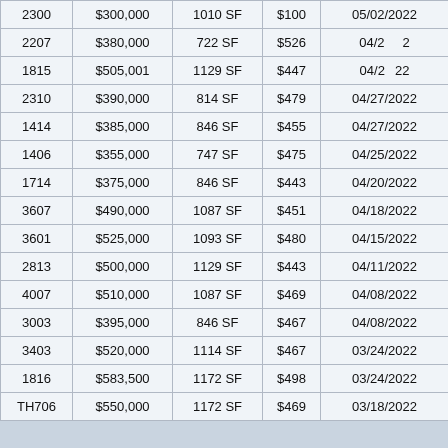| 2207 | $380,000 | 722 SF | $526 | 04/2_/2022 |
| 1815 | $505,001 | 1129 SF | $447 | 04/2_/2022 |
| 2310 | $390,000 | 814 SF | $479 | 04/27/2022 |
| 1414 | $385,000 | 846 SF | $455 | 04/27/2022 |
| 1406 | $355,000 | 747 SF | $475 | 04/25/2022 |
| 1714 | $375,000 | 846 SF | $443 | 04/20/2022 |
| 3607 | $490,000 | 1087 SF | $451 | 04/18/2022 |
| 3601 | $525,000 | 1093 SF | $480 | 04/15/2022 |
| 2813 | $500,000 | 1129 SF | $443 | 04/11/2022 |
| 4007 | $510,000 | 1087 SF | $469 | 04/08/2022 |
| 3003 | $395,000 | 846 SF | $467 | 04/08/2022 |
| 3403 | $520,000 | 1114 SF | $467 | 03/24/2022 |
| 1816 | $583,500 | 1172 SF | $498 | 03/24/2022 |
| TH706 | $550,000 | 1172 SF | $469 | 03/18/2022 |